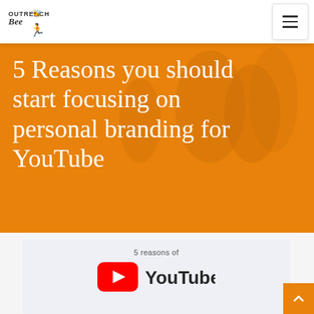Outreach Bee — navigation with logo and menu
5 Reasons you should start focusing on personal branding for YouTube
[Figure (screenshot): Embedded image card showing '5 reasons of' text above a YouTube logo (red play button icon and 'YouTube' wordmark in dark gray/black)]